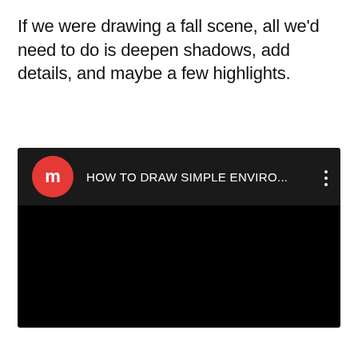If we were drawing a fall scene, all we'd need to do is deepen shadows, add details, and maybe a few highlights.
[Figure (screenshot): Embedded video player screenshot with dark/black background. Top bar shows a red circular channel icon with letter 'm', video title 'HOW TO DRAW SIMPLE ENVIRO...' in white text, and a three-dot menu icon on the right. The main video area is solid black.]